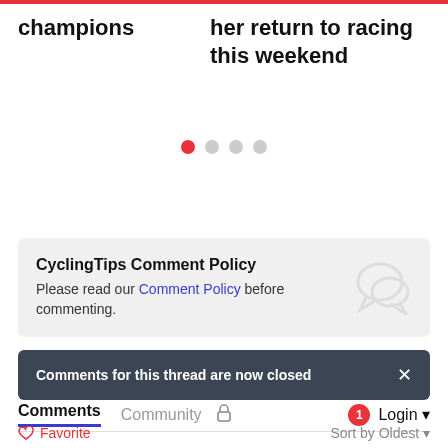champions
her return to racing this weekend
[Figure (other): Carousel dot navigation with 4 dots, first dot active (red), others grey]
CyclingTips Comment Policy
Please read our Comment Policy before commenting.
Comments for this thread are now closed
Comments   Community   Login
♡ Favorite   Sort by Oldest